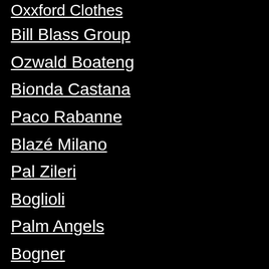Oxxford Clothes
Bill Blass Group
Ozwald Boateng
Bionda Castana
Paco Rabanne
Blazé Milano
Pal Zileri
Boglioli
Palm Angels
Bogner
Paris Texas
Bonia
Paul Smith
Bontoni